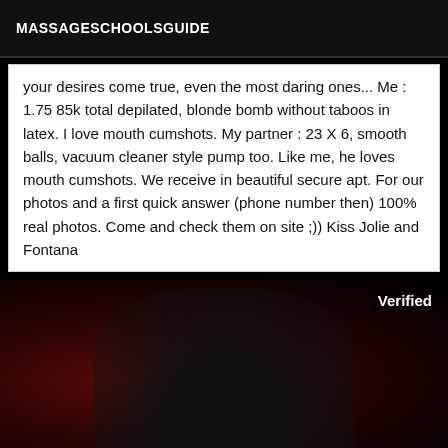MASSAGESCHOOLSGUIDE
your desires come true, even the most daring ones... Me : 1.75 85k total depilated, blonde bomb without taboos in latex. I love mouth cumshots. My partner : 23 X 6, smooth balls, vacuum cleaner style pump too. Like me, he loves mouth cumshots. We receive in beautiful secure apt. For our photos and a first quick answer (phone number then) 100% real photos. Come and check them on site ;)) Kiss Jolie and Fontana
[Figure (photo): Dark photo with verified badge in top right corner, showing a dark reddish-black background with a figure silhouette]